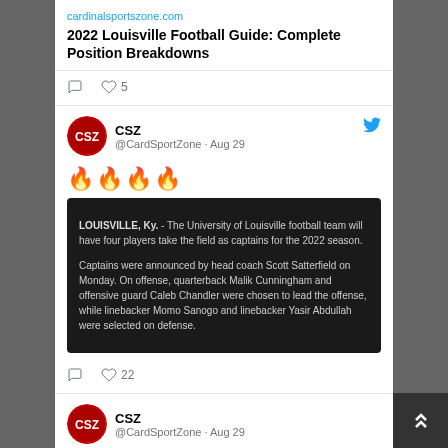cardinalsportszone.com
2022 Louisville Football Guide: Complete Position Breakdowns
♡ ♡ 5
[Figure (screenshot): CSZ @CardSportZone tweet from Aug 29 with four fire emojis and an embedded article with dark background about University of Louisville football team captains for 2022 season]
22 likes
[Figure (screenshot): CSZ @CardSportZone tweet from Aug 29 about Zach Greenwell Named Associate AD For...]